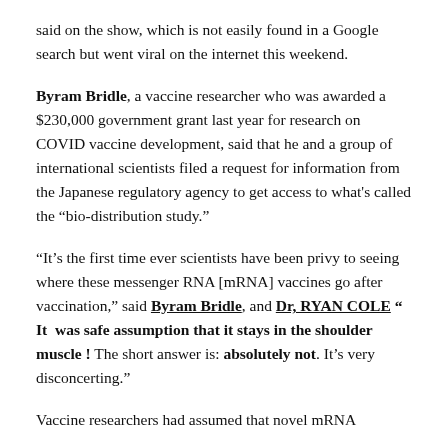said on the show, which is not easily found in a Google search but went viral on the internet this weekend.
Byram Bridle, a vaccine researcher who was awarded a $230,000 government grant last year for research on COVID vaccine development, said that he and a group of international scientists filed a request for information from the Japanese regulatory agency to get access to what's called the “bio-distribution study.”
“It’s the first time ever scientists have been privy to seeing where these messenger RNA [mRNA] vaccines go after vaccination,” said Byram Bridle, and Dr, RYAN COLE “ It was safe assumption that it stays in the shoulder muscle ! The short answer is: absolutely not. It’s very disconcerting.”
Vaccine researchers had assumed that novel mRNA